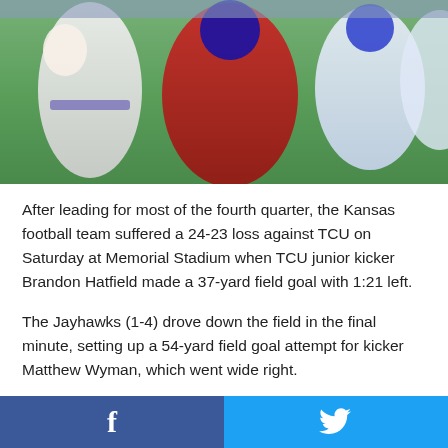[Figure (photo): Football game action photo showing players in white uniforms and a player in red/blue uniform on a green field]
After leading for most of the fourth quarter, the Kansas football team suffered a 24-23 loss against TCU on Saturday at Memorial Stadium when TCU junior kicker Brandon Hatfield made a 37-yard field goal with 1:21 left.
The Jayhawks (1-4) drove down the field in the final minute, setting up a 54-yard field goal attempt for kicker Matthew Wyman, which went wide right.
Kansas led by as many as nine points, 23-14, when sophomore quarterback Ryan Willis — who made his first start of the season — ran for a 21-yard touchdown at the end of the third quarter.
[Figure (other): Social sharing bar with Facebook and Twitter buttons at the bottom of the page]